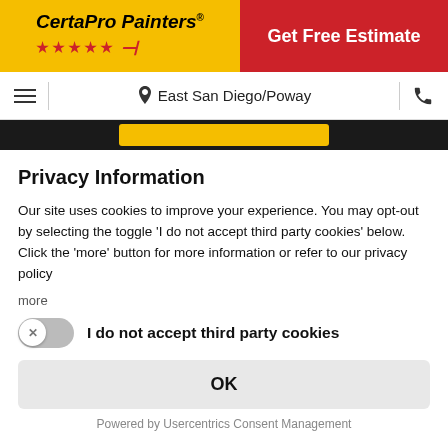[Figure (logo): CertaPro Painters logo with yellow background, stars, and red Get Free Estimate button]
East San Diego/Poway
Privacy Information
Our site uses cookies to improve your experience. You may opt-out by selecting the toggle 'I do not accept third party cookies' below. Click the 'more' button for more information or refer to our privacy policy
more
I do not accept third party cookies
OK
Powered by Usercentrics Consent Management